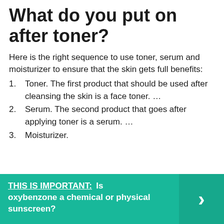What do you put on after toner?
Here is the right sequence to use toner, serum and moisturizer to ensure that the skin gets full benefits:
Toner. The first product that should be used after cleansing the skin is a face toner. …
Serum. The second product that goes after applying toner is a serum. …
Moisturizer.
THIS IS IMPORTANT:  Is oxybenzone a chemical or physical sunscreen?